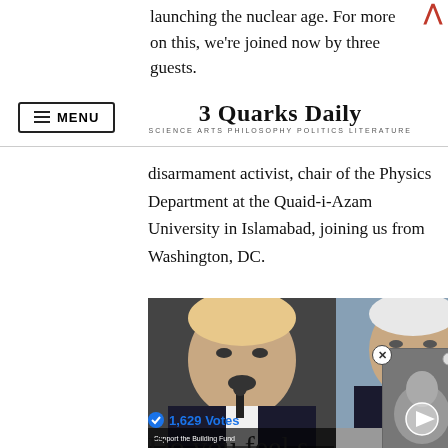launching the nuclear age. For more on this, we're joined now by three guests.
3 Quarks Daily — SCIENCE ARTS PHILOSOPHY POLITICS LITERATURE
disarmament activist, chair of the Physics Department at the Quaid-i-Azam University in Islamabad, joining us from Washington, DC.
[Figure (photo): Side-by-side photos of two politicians speaking at microphones, with a video overlay thumbnail in the bottom right corner showing a gray animal image with a play button.]
1,629 Votes
Do you feel s